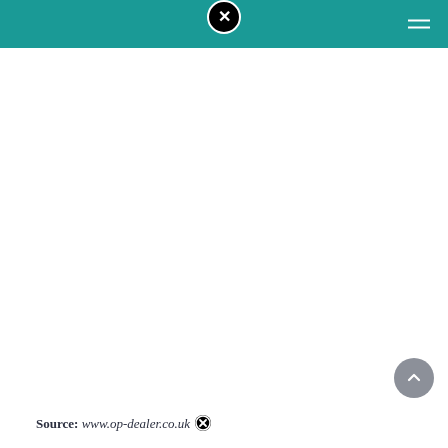[Logo icon] [Hamburger menu]
Source: www.op-dealer.co.uk